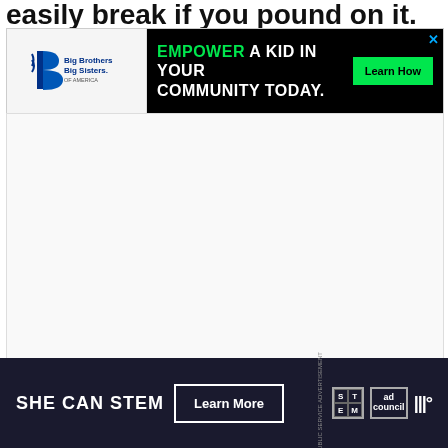easily break if you pound on it.
[Figure (advertisement): Big Brothers Big Sisters of America advertisement banner. Left side shows BBBS logo on light background. Right side has black background with green text 'EMPOWER' followed by white text 'A KID IN YOUR COMMUNITY TODAY.' and a green 'Learn How' button. Blue X close button in top right.]
[Figure (advertisement): SHE CAN STEM advertisement banner on dark navy background. White bold text 'SHE CAN STEM', white-bordered 'Learn More' button, STEM grid logo, Ad Council logo, and weather channel logo on right.]